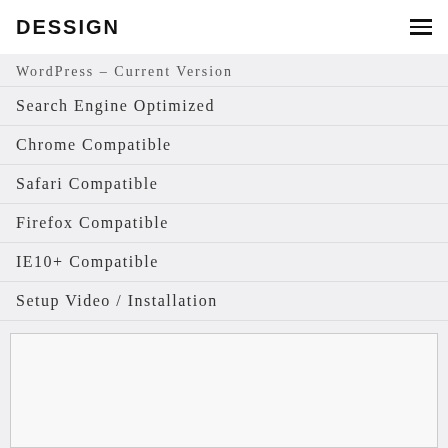DESSIGN
WordPress – Current Version
Search Engine Optimized
Chrome Compatible
Safari Compatible
Firefox Compatible
IE10+ Compatible
Setup Video / Installation
[Figure (other): Empty bordered box, partially visible at bottom of page]